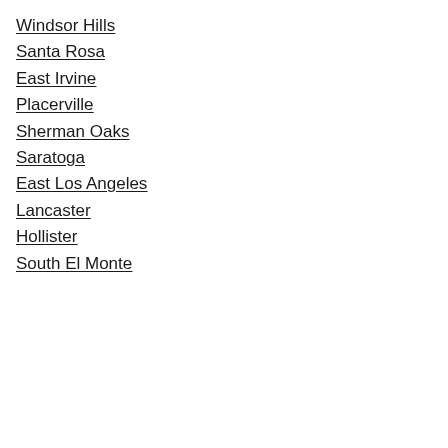Windsor Hills
Santa Rosa
East Irvine
Placerville
Sherman Oaks
Saratoga
East Los Angeles
Lancaster
Hollister
South El Monte